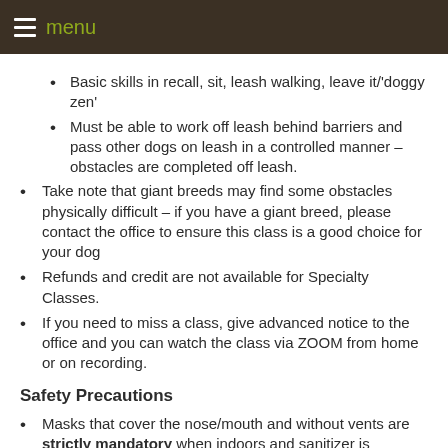menu
Basic skills in recall, sit, leash walking, leave it/'doggy zen'
Must be able to work off leash behind barriers and pass other dogs on leash in a controlled manner – obstacles are completed off leash.
Take note that giant breeds may find some obstacles physically difficult – if you have a giant breed, please contact the office to ensure this class is a good choice for your dog
Refunds and credit are not available for Specialty Classes.
If you need to miss a class, give advanced notice to the office and you can watch the class via ZOOM from home or on recording.
Safety Precautions
Masks that cover the nose/mouth and without vents are strictly mandatory when indoors and sanitizer is